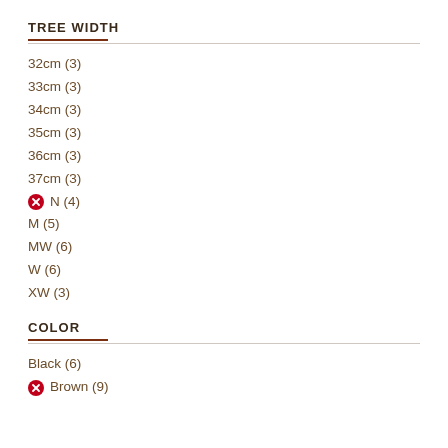TREE WIDTH
32cm (3)
33cm (3)
34cm (3)
35cm (3)
36cm (3)
37cm (3)
N (4)
M (5)
MW (6)
W (6)
XW (3)
COLOR
Black (6)
Brown (9)